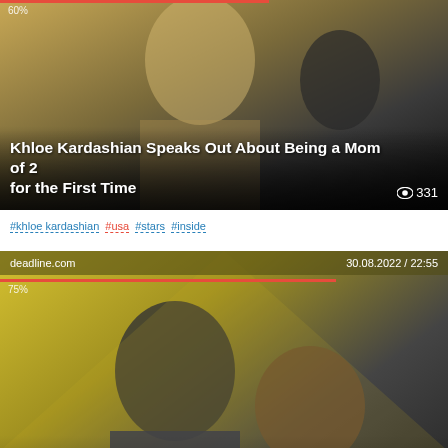[Figure (photo): Khloe Kardashian photo card with article headline overlay, progress bar 60%, view count 331]
#khloe kardashian #usa #stars #inside
[Figure (photo): Captain Marvel Anna Boden & Ryan Fleck article card from deadline.com, dated 30.08.2022 / 22:55, progress 75%, view count 438]
#charles d.king #california #state mississippi #county...
[Figure (photo): Third article card from justjared.com, dated 30.08.2022 / 22:13, partially visible at bottom]